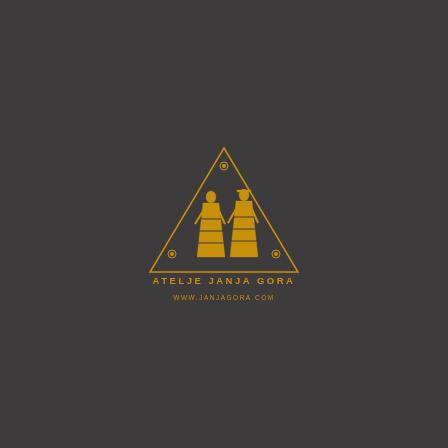[Figure (logo): Atelje Janja Gora logo: a golden triangle containing two stylized female figures in traditional dress and small circular ornaments at the top and sides, with text 'ATELJE JANJA GORA' and 'WWW.JANJAGORA.COM' below the triangle, all in gold on dark grey background.]